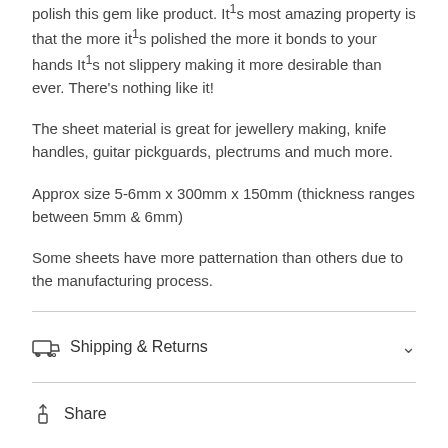polish this gem like product. It¹s most amazing property is that the more it¹s polished the more it bonds to your hands It¹s not slippery making it more desirable than ever. There's nothing like it!
The sheet material is great for jewellery making, knife handles, guitar pickguards, plectrums and much more.
Approx size 5-6mm x 300mm x 150mm (thickness ranges between 5mm & 6mm)
Some sheets have more patternation than others due to the manufacturing process.
Shipping & Returns
Share